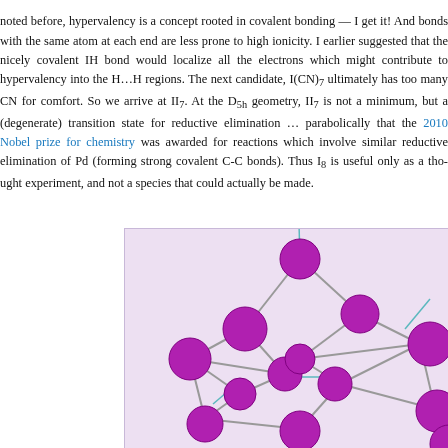noted before, hypervalency is a concept rooted in covalent bonding — I get it! And bonds with the same atom at each end are less prone to high ionicity. I earlier suggested that the nicely covalent IH bond would localize all the electrons which might contribute to hypervalency into the I…I and the H…H regions. The next candidate, I(CN)7 ultimately has too many CN for comfort. So we arrive at II7. At the D5h geometry, II7 is not a minimum, but a (degenerate) transition state for reductive elimination … parabolically that the 2010 Nobel prize for chemistry was awarded for reactions which involve similar reductive elimination of Pd (forming strong covalent C-C bonds). Thus I8 is useful only as a thought experiment, and not a species that could actually be made.
[Figure (illustration): Molecular structure diagram of I8 cluster showing magenta/purple iodine atoms (spheres) connected by gray bonds in a cage-like arrangement, with teal/cyan bond lines indicating specific structural features. Light purple background.]